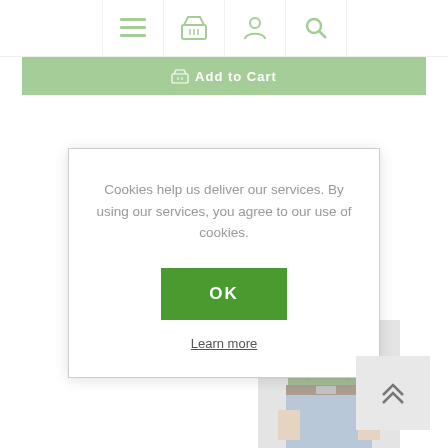[Figure (screenshot): Website navigation bar with hamburger menu, shopping basket, user account, and search icons in green on white background]
[Figure (screenshot): Green 'Add to Cart' button bar]
Cookies help us deliver our services. By using our services, you agree to our use of cookies.
[Figure (screenshot): Green OK button for cookie consent]
Learn more
MOSAIC
[Figure (photo): Person wearing green t-shirt and jeans with belt, hands in pockets, partial body view]
[Figure (screenshot): Back to top button with double chevron up arrow]